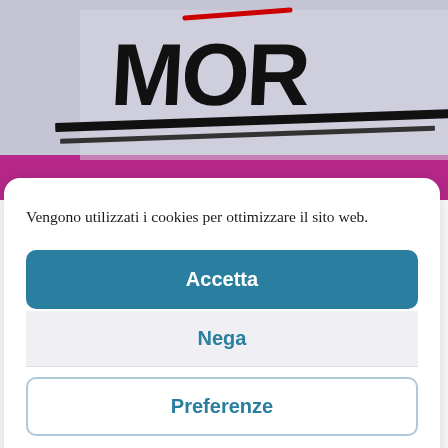[Figure (photo): Blurred photo showing a sign with partial text 'MOR' in large black bold letters on a light gray/lavender background, with a magenta/pink horizontal band below. A red diagonal line and black horizontal lines are visible on the sign.]
Vengono utilizzati i cookies per ottimizzare il sito web.
Accetta
Nega
Preferenze
Cookie Policy  Privacy Policy